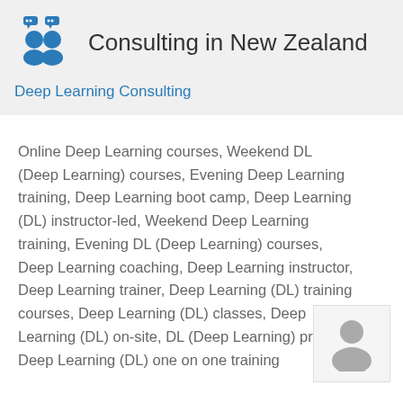[Figure (logo): Blue consulting/people icon with speech bubbles]
Consulting in New Zealand
Deep Learning Consulting
Online Deep Learning courses, Weekend DL (Deep Learning) courses, Evening Deep Learning training, Deep Learning boot camp, Deep Learning (DL) instructor-led, Weekend Deep Learning training, Evening DL (Deep Learning) courses, Deep Learning coaching, Deep Learning instructor, Deep Learning trainer, Deep Learning (DL) training courses, Deep Learning (DL) classes, Deep Learning (DL) on-site, DL (Deep Learning) private Deep Learning (DL) one on one training
[Figure (illustration): Grey person/avatar silhouette icon]